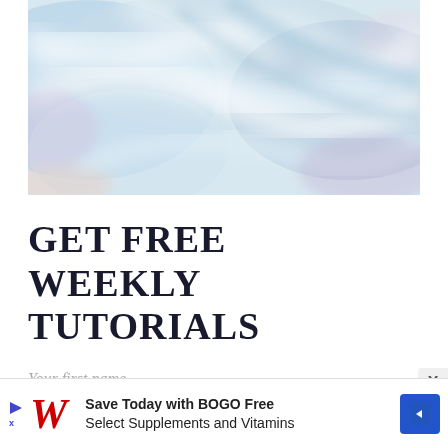[Figure (illustration): Abstract watercolor/marble texture image with soft blues, whites, pinks, and purples — resembles flowing fabric or glacial ice]
GET FREE WEEKLY TUTORIALS
Your first name
[Figure (infographic): Walgreens advertisement banner: 'Save Today with BOGO Free Select Supplements and Vitamins' with Walgreens cursive W logo and blue diamond arrow icon]